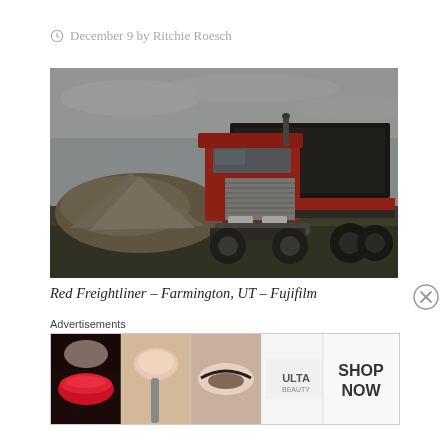December 9 by Ritchie Roesch
[Figure (photo): A large red Freightliner dump truck parked in a field with a pile of dirt/rocks on the left side, overcast sky, dark grass in foreground. Dramatic, moody lighting.]
Red Freightliner – Farmington, UT – Fujifilm
Advertisements
[Figure (photo): Ulta Beauty advertisement banner showing close-up images of makeup looks — red lips, powder brush, eye makeup, Ulta logo, dramatic eye makeup, with SHOP NOW text on right.]